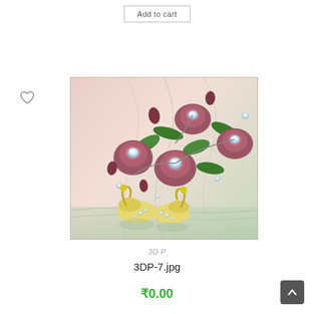Add to cart
[Figure (photo): 3D decorative wallpaper image showing jeweled flowers (roses) with diamonds and two golden swans standing in water, against a silky pink/cream background]
3D P
3DP-7.jpg
₹0.00